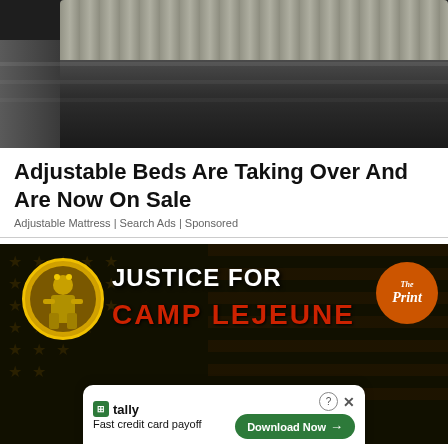[Figure (photo): Product photo of an adjustable bed/mattress with dark gray upholstered base and plaid/checked fabric on top surface, viewed from above at an angle]
Adjustable Beds Are Taking Over And Are Now On Sale
Adjustable Mattress | Search Ads | Sponsored
[Figure (photo): Advertisement banner for 'Justice For Camp Lejeune' featuring a dark olive/black American flag background with stars, a circular yellow badge with a soldier figure on the left, large white bold text 'JUSTICE FOR' and red bold text 'CAMP LEJEUNE', and an orange circular 'The Print' badge on the right. Below is a smaller Tally ad bar with logo, 'Fast credit card payoff' text, and a green 'Download Now' button.]